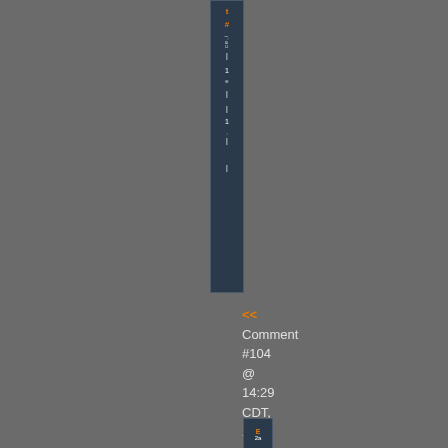[Figure (screenshot): A narrow vertical dark sidebar column with white text characters running vertically and orange marker characters, resembling a code editor or comment thread sidebar UI element.]
<< Comment #104 @ 14:29 CDT, 23 July 2005 >>
[Figure (screenshot): Small thumbnail image at bottom showing a miniature version of the sidebar column with orange and white text.]